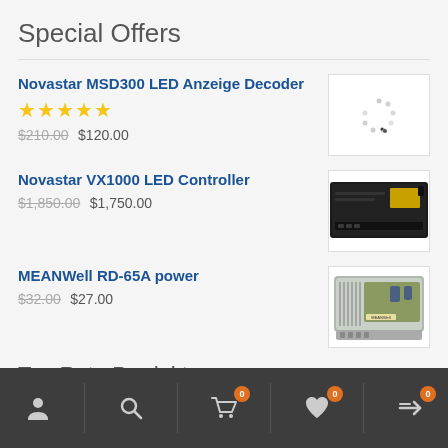Special Offers
Novastar MSD300 LED Anzeige Decoder
★★★★★
$210.00 $120.00
[Figure (photo): Loading spinner / placeholder image for Novastar MSD300 LED Anzeige Decoder]
Novastar VX1000 LED Controller
$1,850.00 $1,750.00
[Figure (photo): Photo of Novastar VX1000 LED Controller — black rack-mount unit with yellow label]
MEANWell RD-65A power
$32.00 $27.00
[Figure (photo): Photo of MEANWell RD-65A power supply — silver/grey metal unit]
Top Rate Produkte